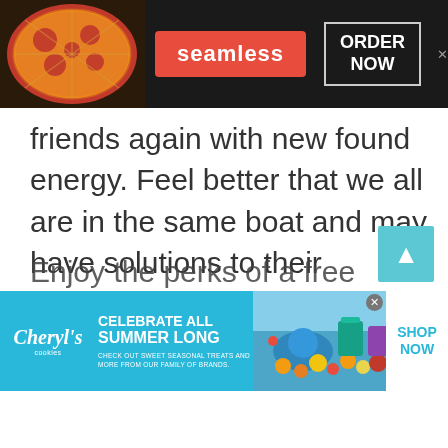[Figure (screenshot): Seamless food delivery advertisement banner with pizza image on left, red Seamless logo badge in center, and ORDER NOW button with white border on dark background. Close X button at right.]
friends again with new found energy. Feel better that we all are in the same boat and may have solutions to their problems. At Talkwithstranger, chat with people of Belarus will keep you light and fresh. Go ahead!
Enjoy the perks of a free chatroom
[Figure (screenshot): Cheryl's Cookies advertisement banner: CELEBRATE ALL SUMMER LONG - CHECK OUT SWEET SEASONAL TREATS AND MORE FROM OUR FAMILY OF BRANDS. Shows colorful summer food spread image. SHOP NOW button on right.]